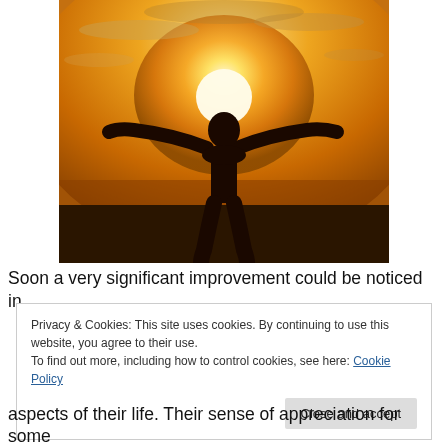[Figure (photo): Silhouette of a person standing with arms outstretched wide against a bright orange sunset sky, symbolizing freedom or empowerment.]
Soon a very significant improvement could be noticed in
Privacy & Cookies: This site uses cookies. By continuing to use this website, you agree to their use.
To find out more, including how to control cookies, see here: Cookie Policy
[Close and accept button]
aspects of their life. Their sense of appreciation for some